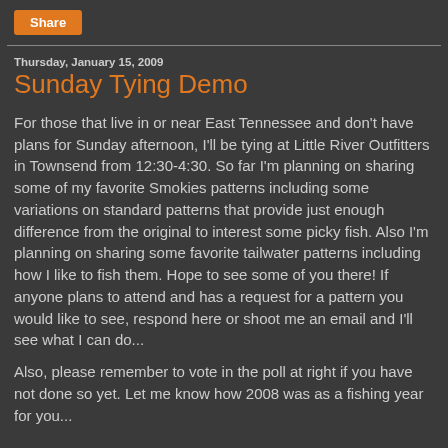[Figure (other): Orange 'Share' button in top-left corner]
Thursday, January 15, 2009
Sunday Tying Demo
For those that live in or near East Tennessee and don't have plans for Sunday afternoon, I'll be tying at Little River Outfitters in Townsend from 12:30-4:30. So far I'm planning on sharing some of my favorite Smokies patterns including some variations on standard patterns that provide just enough difference from the original to interest some picky fish. Also I'm planning on sharing some favorite tailwater patterns including how I like to fish them. Hope to see some of you there! If anyone plans to attend and has a request for a pattern you would like to see, respond here or shoot me an email and I'll see what I can do...
Also, please remember to vote in the poll at right if you have not done so yet. Let me know how 2008 was as a fishing year for you...